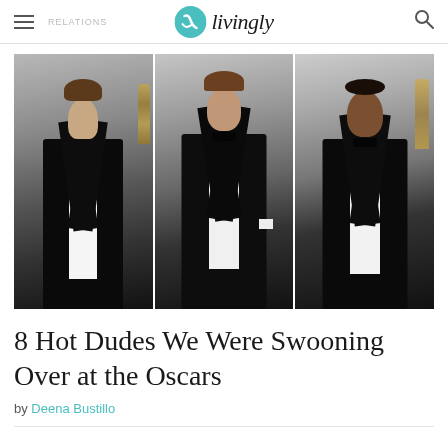livingly
[Figure (photo): Three men in black tuxedos with bow ties posing on a red carpet, shown in a triptych photo collage. Left panel: Eddie Redmayne. Center panel: Michael Fassbender. Right panel: John Legend.]
8 Hot Dudes We Were Swooning Over at the Oscars
by Deena Bustillo